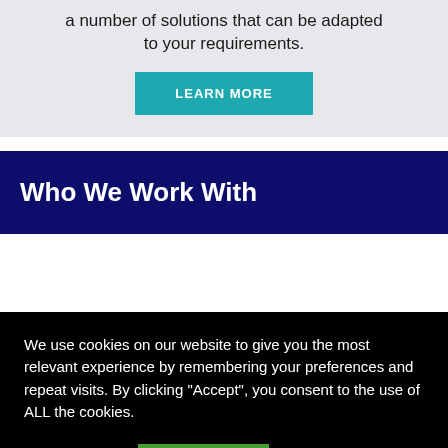a number of solutions that can be adapted to your requirements.
LEARN MORE
Who We Work With
We use cookies on our website to give you the most relevant experience by remembering your preferences and repeat visits. By clicking "Accept", you consent to the use of ALL the cookies.
Cookie settings
ACCEPT